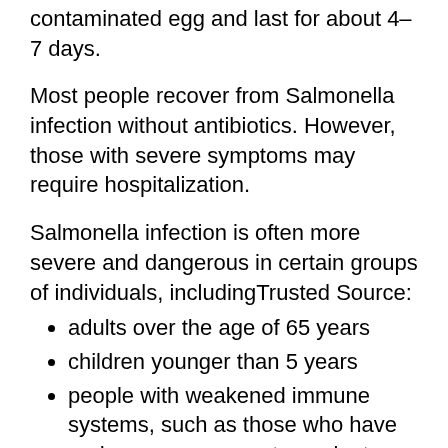contaminated egg and last for about 4–7 days.
Most people recover from Salmonella infection without antibiotics. However, those with severe symptoms may require hospitalization.
Salmonella infection is often more severe and dangerous in certain groups of individuals, includingTrusted Source:
adults over the age of 65 years
children younger than 5 years
people with weakened immune systems, such as those who have undergone an organ transplant or are living with HIV
Not everyone who eats a bad egg will develop Salmonella infection.